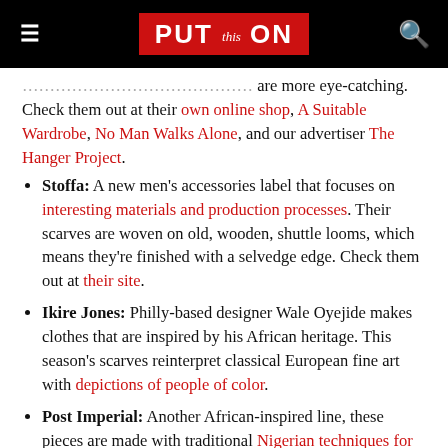PUT this ON
…classic and traditional designs, as well as some that are more eye-catching. Check them out at their own online shop, A Suitable Wardrobe, No Man Walks Alone, and our advertiser The Hanger Project.
Stoffa: A new men's accessories label that focuses on interesting materials and production processes. Their scarves are woven on old, wooden, shuttle looms, which means they're finished with a selvedge edge. Check them out at their site.
Ikire Jones: Philly-based designer Wale Oyejide makes clothes that are inspired by his African heritage. This season's scarves reinterpret classical European fine art with depictions of people of color.
Post Imperial: Another African-inspired line, these pieces are made with traditional Nigerian techniques for fabric dyeing and printing.